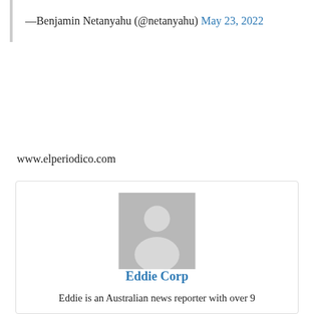—Benjamin Netanyahu (@netanyahu) May 23, 2022
www.elperiodico.com
[Figure (illustration): Profile card with a grey placeholder avatar image (silhouette of a person) and the name 'Eddie Corp' in blue, followed by a short bio text.]
Eddie Corp
Eddie is an Australian news reporter with over 9